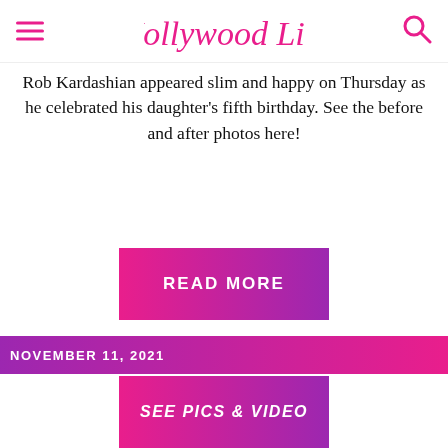Hollywood Life
Rob Kardashian appeared slim and happy on Thursday as he celebrated his daughter's fifth birthday. See the before and after photos here!
[Figure (other): READ MORE button with pink-to-purple gradient background]
NOVEMBER 11, 2021
[Figure (other): SEE PICS & VIDEO button with pink-to-purple gradient background]